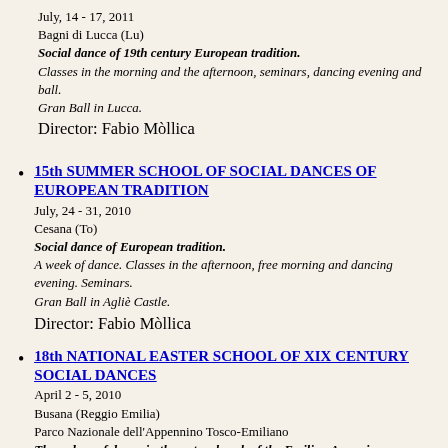July, 14 - 17, 2011
Bagni di Lucca (Lu)
Social dance of 19th century European tradition.
Classes in the morning and the afternoon, seminars, dancing evening and ball.
Gran Ball in Lucca.
Director: Fabio Mòllica
15th SUMMER SCHOOL OF SOCIAL DANCES OF EUROPEAN TRADITION
July, 24 - 31, 2010
Cesana (To)
Social dance of European tradition.
A week of dance. Classes in the afternoon, free morning and dancing evening. Seminars.
Gran Ball in Agliè Castle.
Director: Fabio Mòllica
18th NATIONAL EASTER SCHOOL OF XIX CENTURY SOCIAL DANCES
April 2 - 5, 2010
Busana (Reggio Emilia)
Parco Nazionale dell'Appennino Tosco-Emiliano
Three days of dance in the natural park of the Emilian Apennines
Director: Fabio Mòllica
14th SUMMER SCHOOL OF SOCIAL DANCES OF